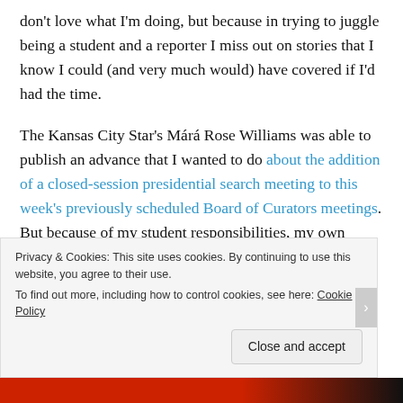don't love what I'm doing, but because in trying to juggle being a student and a reporter I miss out on stories that I know I could (and very much would) have covered if I'd had the time.
The Kansas City Star's Mará Rose Williams was able to publish an advance that I wanted to do about the addition of a closed-session presidential search meeting to this week's previously scheduled Board of Curators meetings. But because of my student responsibilities, my own version of this article just never made it into my top priorities and now I'm simply following up a story that's already been read by so
Privacy & Cookies: This site uses cookies. By continuing to use this website, you agree to their use.
To find out more, including how to control cookies, see here: Cookie Policy
Close and accept